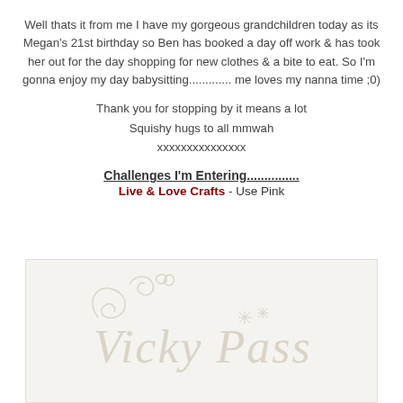Well thats it from me I have my gorgeous grandchildren today as its Megan's 21st birthday so Ben has booked a day off work & has took her out for the day shopping for new clothes & a bite to eat. So I'm gonna enjoy my day babysitting............. me loves my nanna time ;0)
Thank you for stopping by it means a lot
Squishy hugs to all mmwah
xxxxxxxxxxxxxxx
Challenges I'm Entering...............
Live & Love Crafts - Use Pink
[Figure (illustration): A light cream/beige watermark-style signature reading 'Vicky Pass' with decorative floral/butterfly flourishes in a pale off-white color on a light background.]